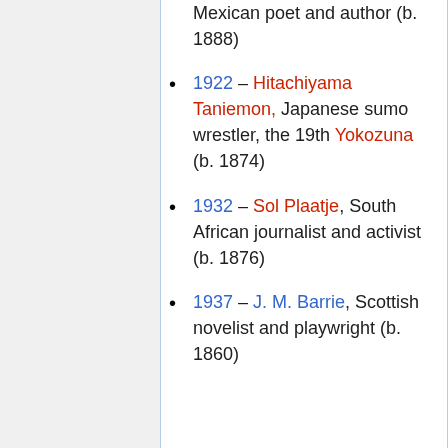Mexican poet and author (b. 1888)
1922 – Hitachiyama Taniemon, Japanese sumo wrestler, the 19th Yokozuna (b. 1874)
1932 – Sol Plaatje, South African journalist and activist (b. 1876)
1937 – J. M. Barrie, Scottish novelist and playwright (b. 1860)